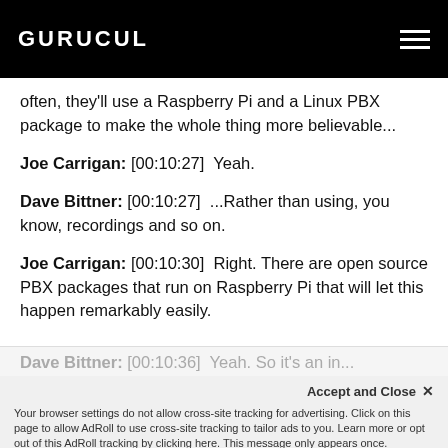GURUCUL
often, they'll use a Raspberry Pi and a Linux PBX package to make the whole thing more believable...
Joe Carrigan: [00:10:27]  Yeah.
Dave Bittner: [00:10:27]  ...Rather than using, you know, recordings and so on.
Joe Carrigan: [00:10:30]  Right. There are open source PBX packages that run on Raspberry Pi that will let this happen remarkably easily.
Dave Bittner: [00:10:36]  Yeah. So it's an in...
Accept and Close ×
Your browser settings do not allow cross-site tracking for advertising. Click on this page to allow AdRoll to use cross-site tracking to tailor ads to you. Learn more or opt out of this AdRoll tracking by clicking here. This message only appears once.
suggest, the way to protect yourself is to move s...